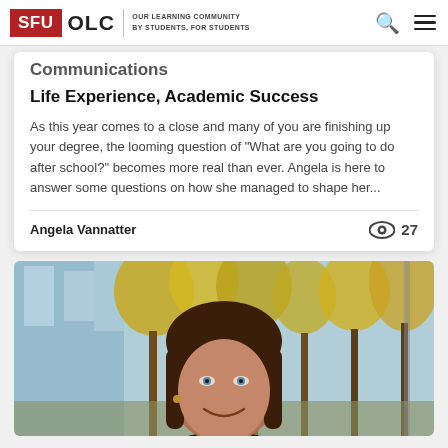SFU OLC | OUR LEARNING COMMUNITY BY STUDENTS, FOR STUDENTS
Communications
Life Experience, Academic Success
As this year comes to a close and many of you are finishing up your degree, the looming question of "What are you going to do after school?" becomes more real than ever. Angela is here to answer some questions on how she managed to shape her...
Angela Vannatter
[Figure (photo): Outdoor portrait photo of a young woman with dark brown hair and bangs, smiling, with blurred autumn trees and a building in the background]